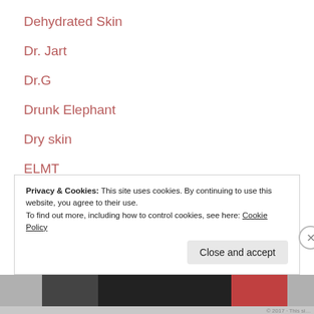Dehydrated Skin
Dr. Jart
Dr.G
Drunk Elephant
Dry skin
ELMT
essence
essential oil free
essential oils
Privacy & Cookies: This site uses cookies. By continuing to use this website, you agree to their use.
To find out more, including how to control cookies, see here: Cookie Policy